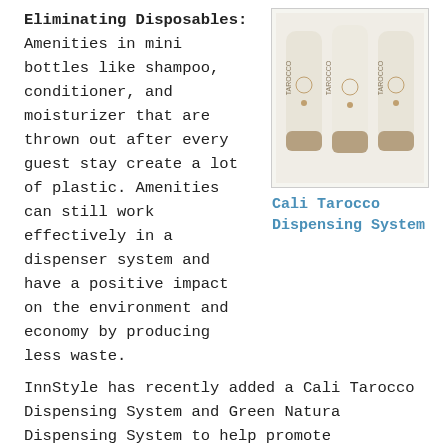Eliminating Disposables: Amenities in mini bottles like shampoo, conditioner, and moisturizer that are thrown out after every guest stay create a lot of plastic. Amenities can still work effectively in a dispenser system and have a positive impact on the environment and economy by producing less waste. InnStyle has recently added a Cali Tarocco Dispensing System and Green Natura Dispensing System to help promote sustainability.
[Figure (photo): Three cream-colored cylindrical dispensing bottles labeled TAROCCO side by side]
Cali Tarocco Dispensing System
Composting: Many properties produce a lot of waste from fruits, vegetables, and other types of food. Instead of throwing these leftovers in the trash can, a more natural method would be composting. Once the food has